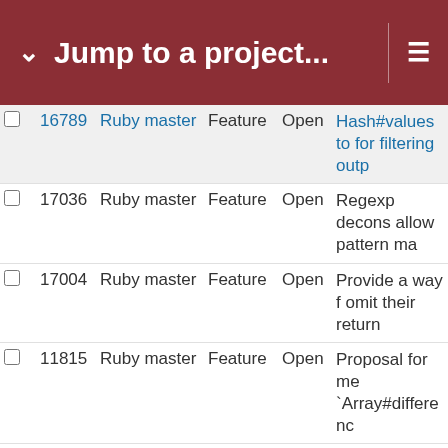Jump to a project...
|  | # | Project | Type | Status | Subject |
| --- | --- | --- | --- | --- | --- |
|  | 16789 | Ruby master | Feature | Open | Hash#values to for filtering outp |
|  | 17036 | Ruby master | Feature | Open | Regexp decons allow pattern ma |
|  | 17004 | Ruby master | Feature | Open | Provide a way f omit their return |
|  | 11815 | Ruby master | Feature | Open | Proposal for me `Array#differenc |
|  | 15580 | Ruby master | Feature | Open | Proposal: metho class String call String#indices ) |
|  | 17121 | Ruby master | Feature | Open | Remove ENV#i |
|  | 13893 | Ruby master | Feature | Open | Add Fiber#[] an restore Thread# to their original |
|  | 17115 | Ruby master | Feature | Open | Optimize String: ASCII strings |
|  | 17040 | Ruby master | Feature | Open | cleanup include |
|  | 14844 | Ruby master | Feature | Open | Future of RubyV |
|  | 14900 | Ruby master | Feature | Open | Extra allocation |